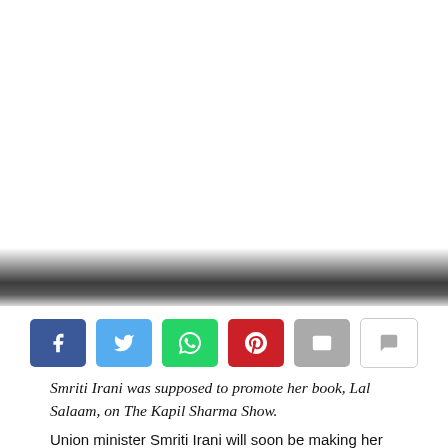[Figure (other): Gradient dark bar transitioning from white to dark gray, representing a faded image or video placeholder at the top portion of the page]
[Figure (infographic): Row of six social sharing buttons: Facebook (blue), Twitter (light blue), WhatsApp (green), Pinterest (red), Email (gray), Comment (white with border)]
Smriti Irani was supposed to promote her book, Lal Salaam, on The Kapil Sharma Show.
Union minister Smriti Irani will soon be making her debut as